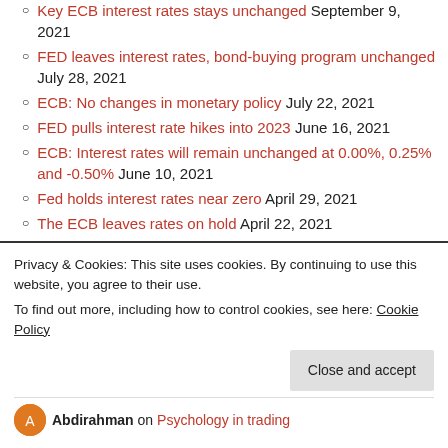Key ECB interest rates stays unchanged September 9, 2021
FED leaves interest rates, bond-buying program unchanged July 28, 2021
ECB: No changes in monetary policy July 22, 2021
FED pulls interest rate hikes into 2023 June 16, 2021
ECB: Interest rates will remain unchanged at 0.00%, 0.25% and -0.50% June 10, 2021
Fed holds interest rates near zero April 29, 2021
The ECB leaves rates on hold April 22, 2021
Fed leaves rates and QE unchanged March 17, 2021
Privacy & Cookies: This site uses cookies. By continuing to use this website, you agree to their use. To find out more, including how to control cookies, see here: Cookie Policy
Abdirahman on Psychology in trading